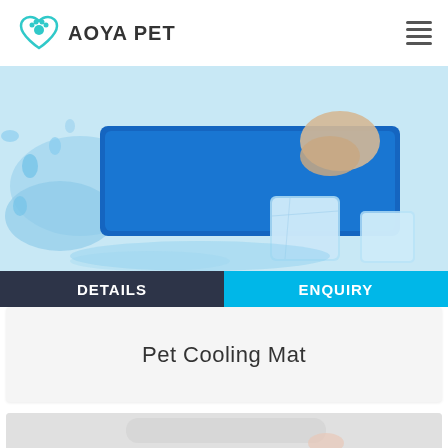AOYA PET
[Figure (photo): A dog lying on a blue pet cooling mat surrounded by water splashes and ice cubes]
DETAILS | ENQUIRY
Pet Cooling Mat
[Figure (photo): Close-up product photo of a white/light-colored pet cooling mat with a hand touching it]